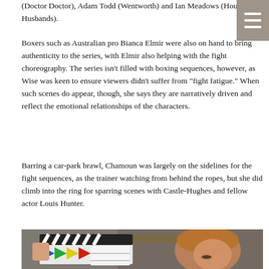(Doctor Doctor), Adam Todd (Wentworth) and Ian Meadows (House Husbands).
Boxers such as Australian pro Bianca Elmir were also on hand to bring authenticity to the series, with Elmir also helping with the fight choreography. The series isn't filled with boxing sequences, however, as Wise was keen to ensure viewers didn't suffer from "fight fatigue." When such scenes do appear, though, she says they are narratively driven and reflect the emotional relationships of the characters.
Barring a car-park brawl, Chamoun was largely on the sidelines for the fight sequences, as the trainer watching from behind the ropes, but she did climb into the ring for sparring scenes with Castle-Hughes and fellow actor Louis Hunter.
[Figure (photo): A woman wearing an orange/brown hijab looking down, with a film clapperboard (clapper board with colorful chevrons) held in the foreground by another person's hand.]